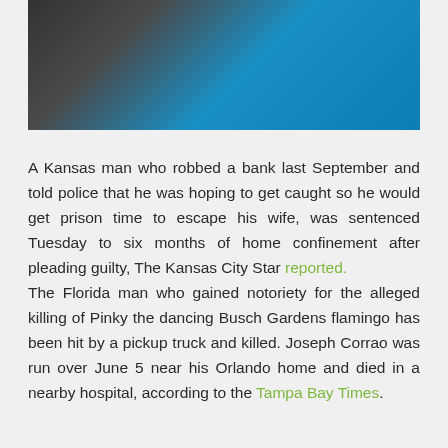[Figure (photo): Partial photo of a person wearing dark clothing against a bright blue background, cropped at top of page]
A Kansas man who robbed a bank last September and told police that he was hoping to get caught so he would get prison time to escape his wife, was sentenced Tuesday to six months of home confinement after pleading guilty, The Kansas City Star reported.
The Florida man who gained notoriety for the alleged killing of Pinky the dancing Busch Gardens flamingo has been hit by a pickup truck and killed. Joseph Corrao was run over June 5 near his Orlando home and died in a nearby hospital, according to the Tampa Bay Times.